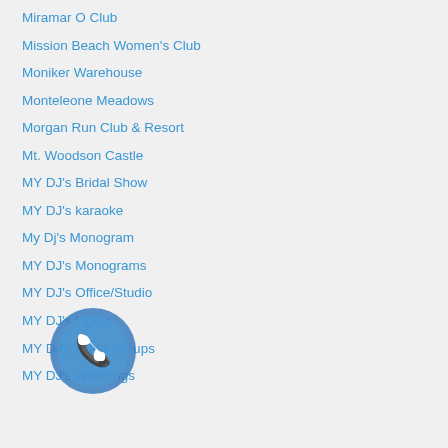Miramar O Club
Mission Beach Women's Club
Moniker Warehouse
Monteleone Meadows
Morgan Run Club & Resort
Mt. Woodson Castle
MY DJ's Bridal Show
MY DJ's karaoke
My Dj's Monogram
MY DJ's Monograms
MY DJ's Office/Studio
MY DJ's Lights
MY DJ's video set ups
MY DJ's Weddings